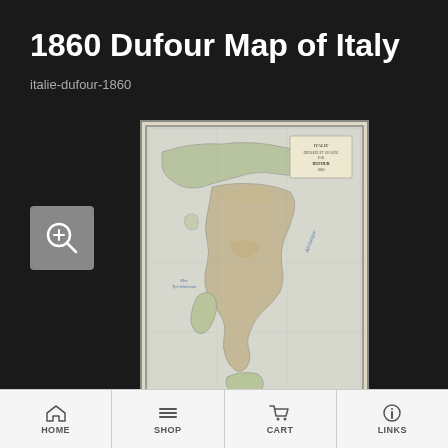1860 Dufour Map of Italy
italie-dufour-1860
[Figure (map): 1860 Dufour antique map of Italy showing the Italian peninsula, Sardinia, Sicily, surrounding seas, with colored regions and geographic detail. Upper right corner contains a cartouche with title text.]
HOME  SHOP  CART  LINKS